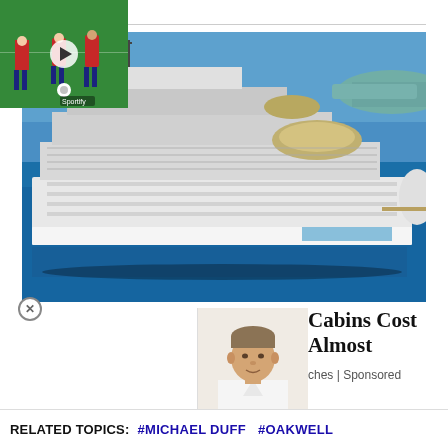G String | Sponsored
[Figure (photo): Aerial view of a large luxury cruise ship on blue water near a coastline]
Cabins Cost Almost
ches | Sponsored
[Figure (photo): Football players in action on a pitch (left thumbnail with play button)]
[Figure (photo): Man in white shirt, portrait/face thumbnail]
RELATED TOPICS: #MICHAEL DUFF #OAKWELL